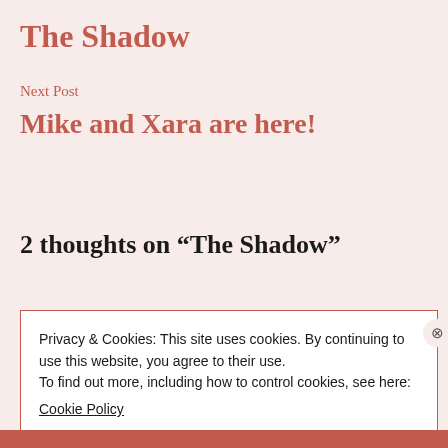The Shadow
Next Post
Mike and Xara are here!
2 thoughts on “The Shadow”
Privacy & Cookies: This site uses cookies. By continuing to use this website, you agree to their use.
To find out more, including how to control cookies, see here:
Cookie Policy
Close and accept